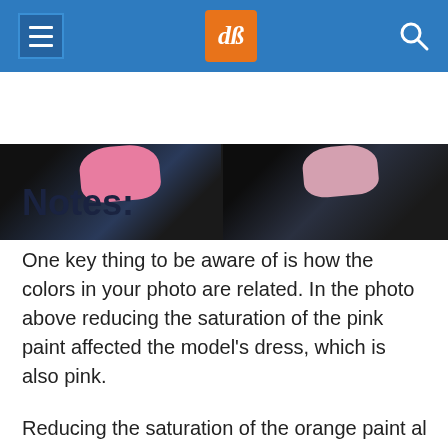dPS navigation header
[Figure (photo): Two side-by-side photographs showing a model in a pink dress against a dark background with textured wall, left image appears original and right appears desaturated/edited]
Notes:
One key thing to be aware of is how the colors in your photo are related. In the photo above reducing the saturation of the pink paint affected the model’s dress, which is also pink.
Reducing the saturation of the orange paint als